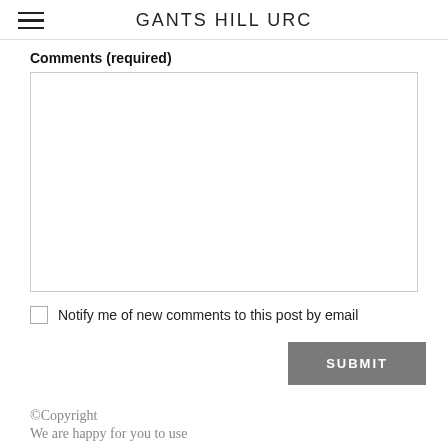GANTS HILL URC
Comments (required)
Notify me of new comments to this post by email
SUBMIT
©Copyright
We are happy for you to use